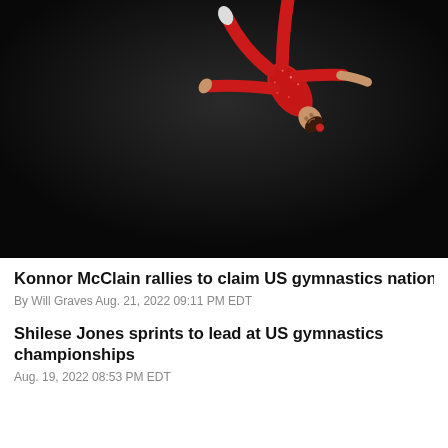[Figure (photo): Gymnast in red leotard performing an inverted aerial move against a dark black background]
Konnor McClain rallies to claim US gymnastics national title
By Will Graves Aug. 21, 2022 09:11 PM EDT
Shilese Jones sprints to lead at US gymnastics championships
Aug. 19, 2022 08:53 PM EDT